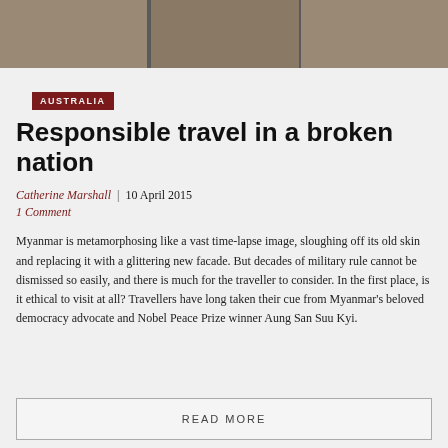[Figure (photo): Three panel image strip showing textured landscape or nature photography]
AUSTRALIA
Responsible travel in a broken nation
Catherine Marshall | 10 April 2015
1 Comment
Myanmar is metamorphosing like a vast time-lapse image, sloughing off its old skin and replacing it with a glittering new facade. But decades of military rule cannot be dismissed so easily, and there is much for the traveller to consider. In the first place, is it ethical to visit at all? Travellers have long taken their cue from Myanmar's beloved democracy advocate and Nobel Peace Prize winner Aung San Suu Kyi.
READ MORE